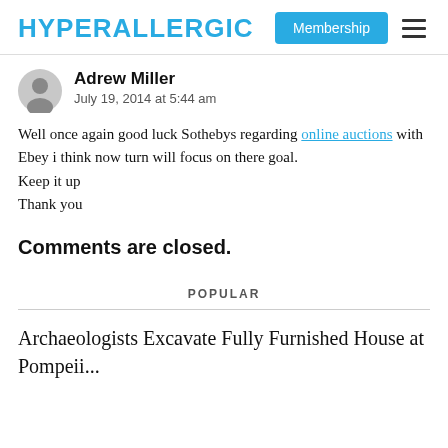HYPERALLERGIC | Membership | ≡
Adrew Miller
July 19, 2014 at 5:44 am
Well once again good luck Sothebys regarding online auctions with Ebey i think now turn will focus on there goal.
Keep it up
Thank you
Comments are closed.
POPULAR
Archaeologists Excavate Fully Furnished House at Pompeii...